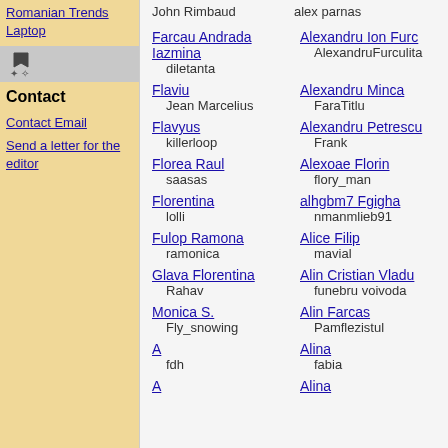Romanian Trends Laptop
[Figure (illustration): Small arrow/bookmark icon on grey background]
Contact
Contact Email
Send a letter for the editor
John Rimbaud
alex parnas
Farcau Andrada Iazmina
diletanta
Alexandru Ion Furc...
AlexandruFurculita
Flaviu
Jean Marcelius
Alexandru Minca
FaraTitlu
Flavyus
killerloop
Alexandru Petrescu
Frank
Florea Raul
saasas
Alexoae Florin
flory_man
Florentina
lolli
alhgbm7 Fgigha
nmanmlieb91
Fulop Ramona
ramonica
Alice Filip
mavial
Glava Florentina
Rahav
Alin Cristian Vladu
funebru voivoda
Monica S.
Fly_snowing
Alin Farcas
Pamflezistul
A
fdh
Alina
fabia
A
Alina